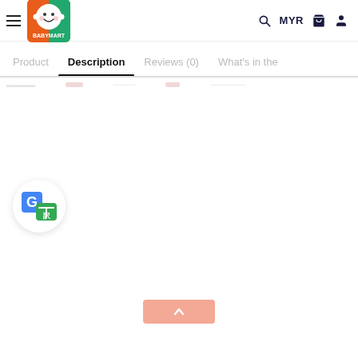[Figure (screenshot): BabyMart website header with hamburger menu, logo, search icon, MYR currency selector, cart icon, and user icon]
Product   Description   Reviews (0)   What's in the
[Figure (logo): Google Translate circular badge icon]
[Figure (other): Back to top button with upward chevron arrow, salmon/pink color]